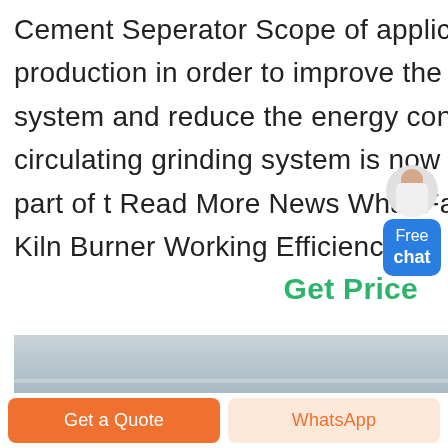Cement Seperator Scope of application In the cement industry production in order to improve the efficiency of the grinding system and reduce the energy consumption of the product a circulating grinding system is now widely used As an important part of t Read More News What Factors can Influence Rotary Kiln Burner Working Efficiency.
Get Price
[Figure (photo): Interior of an industrial facility/warehouse showing machinery and equipment, ceiling with lighting, industrial setting]
Get a Quote
WhatsApp